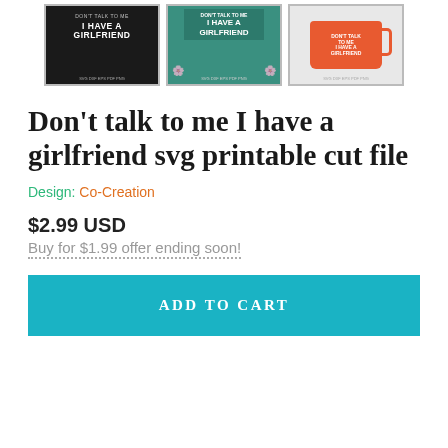[Figure (photo): Three product thumbnail images showing 'Don't talk to me I have a girlfriend' SVG design on different mockups: black background poster, teal t-shirt with flowers, and orange mug on wooden background.]
Don't talk to me I have a girlfriend svg printable cut file
Design: Co-Creation
$2.99 USD
Buy for $1.99 offer ending soon!
ADD TO CART